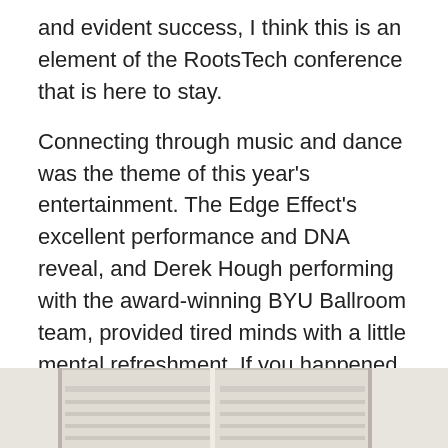and evident success, I think this is an element of the RootsTech conference that is here to stay.
Connecting through music and dance was the theme of this year's entertainment. The Edge Effect's excellent performance and DNA reveal, and Derek Hough performing with the award-winning BYU Ballroom team, provided tired minds with a little mental refreshment. If you happened to miss the performances, The Edge Effect was recorded during Wednesday's session.
There were over 100 entries submitted to the RootsTech FilmFest in 3 categories: youth, amateur, and professional. The prize winners have been announced, but the 12 finalists' projects are available on RootsTechFilmFest.org.
[Figure (photo): Partial view of what appears to be white shelving or cabinet units, cropped at bottom of page.]